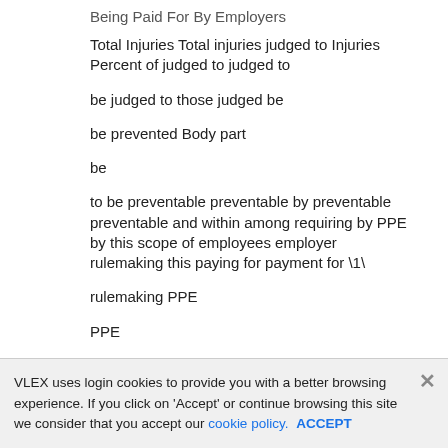Being Paid For By Employers
Total Injuries Total injuries judged to Injuries Percent of judged to judged to
be judged to those judged be
be prevented Body part
be
to be preventable preventable by preventable preventable and within among requiring by PPE by this scope of employees employer rulemaking this paying for payment for \1\
rulemaking PPE
PPE
General Industry
Eye........................................ 117,296
VLEX uses login cookies to provide you with a better browsing experience. If you click on 'Accept' or continue browsing this site we consider that you accept our cookie policy. ACCEPT